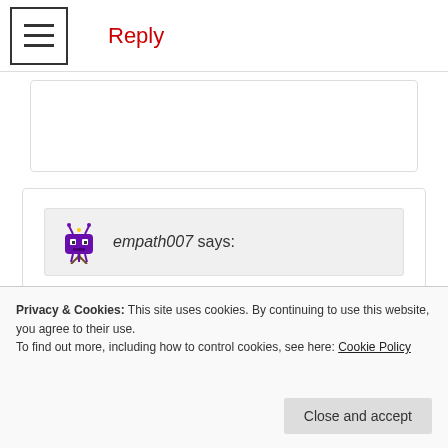Reply
empath007 says:
June 29, 2019 at 01:10
Neither one of us bought gifts for each other. I don't care about material things and he hated getting gifts… which was fine by me I'd rather he just pick out what he likes instead of complaining about what I got him 🤣 lol.
Privacy & Cookies: This site uses cookies. By continuing to use this website, you agree to their use.
To find out more, including how to control cookies, see here: Cookie Policy
Close and accept